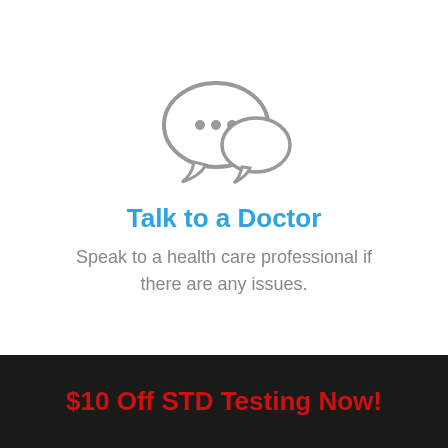[Figure (illustration): Two overlapping speech bubble icons with three dots inside the main bubble, drawn in gray outline style]
Talk to a Doctor
Speak to a health care professional if there are any issues.
$10 Off STD Testing Now!